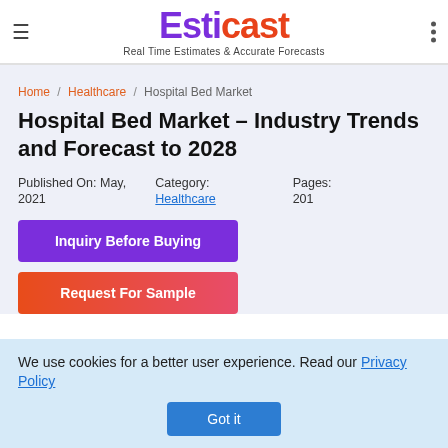Esticast — Real Time Estimates & Accurate Forecasts
Home / Healthcare / Hospital Bed Market
Hospital Bed Market – Industry Trends and Forecast to 2028
Published On: May, 2021 | Category: Healthcare | Pages: 201
Inquiry Before Buying
Request For Sample
We use cookies for a better user experience. Read our Privacy Policy
Got it